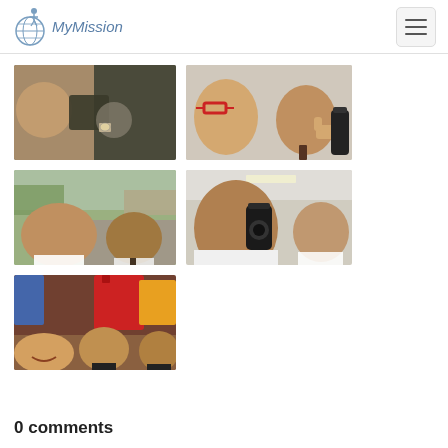MyMission
[Figure (photo): Person eating food close-up selfie with watch visible]
[Figure (photo): Two people with red glasses taking a selfie, one giving thumbs up holding a black water bottle]
[Figure (photo): Two young men in dress shirts taking outdoor selfie in a parking lot]
[Figure (photo): Two people in dress shirts, one holding a black thermos/camera, taking a selfie indoors]
[Figure (photo): Group of three people smiling for a selfie with luggage in background]
0 comments